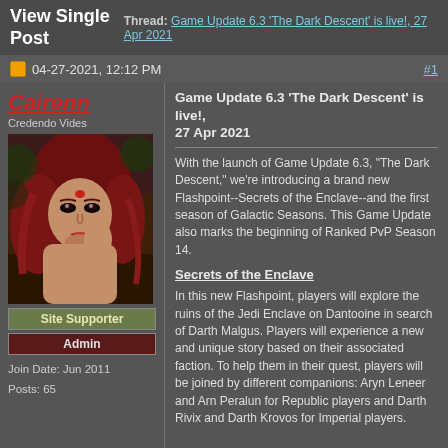View Single Post | Thread: Game Update 6.3 'The Dark Descent' is live!, 27 Apr 2021
04-27-2021, 12:12 PM  #1
Cairenn
Credendo Vides
Site Supporter
Admin
Join Date: Jun 2011
Posts: 65
Game Update 6.3 'The Dark Descent' is live!, 27 Apr 2021
With the launch of Game Update 6.3, “The Dark Descent,” we’re introducing a brand new Flashpoint--Secrets of the Enclave--and the first season of Galactic Seasons. This Game Update also marks the beginning of Ranked PvP Season 14.
Secrets of the Enclave
In this new Flashpoint, players will explore the ruins of the Jedi Enclave on Dantooine in search of Darth Malgus. Players will experience a new and unique story based on their associated faction. To help them in their quest, players will be joined by different companions: Aryn Leneer and Arn Peralun for Republic players and Darth Rivix and Darth Krovos for Imperial players.